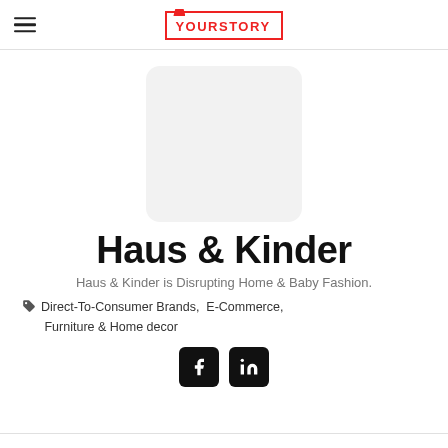YOURSTORY
[Figure (photo): Placeholder image box with rounded corners and light gray background]
Haus & Kinder
Haus & Kinder is Disrupting Home & Baby Fashion.
Direct-To-Consumer Brands, E-Commerce, Furniture & Home decor
[Figure (logo): Facebook and LinkedIn social media icons in black rounded square buttons]